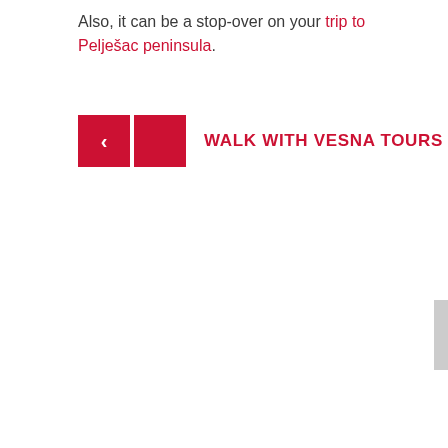Also, it can be a stop-over on your trip to Pelješac peninsula.
WALK WITH VESNA TOURS